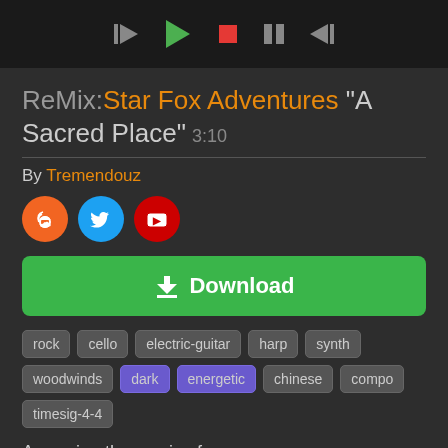[Figure (screenshot): Music player control bar with skip-back, play, stop, pause, and skip-forward buttons on dark background]
ReMix:Star Fox Adventures "A Sacred Place" 3:10
By Tremendouz
[Figure (other): Three social media icons: SoundCloud (orange), Twitter (blue), YouTube (red)]
[Figure (other): Green Download button with download arrow icon]
rock
cello
electric-guitar
harp
synth
woodwinds
dark
energetic
chinese
compo
timesig-4-4
Arranging the music of one song...
"Krazoa Palace"
Primary Game: Star Fox Adventures (Nintendo , 2002, GCN), music by Ben Cullum, David Wise